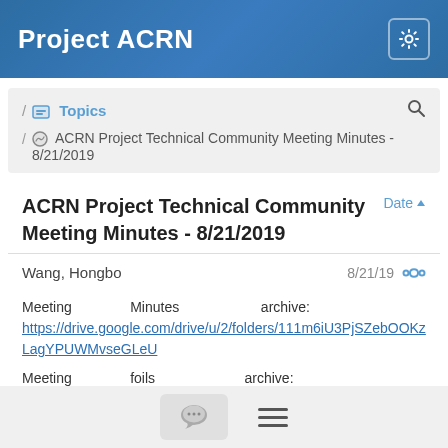Project ACRN
/ Topics / ACRN Project Technical Community Meeting Minutes - 8/21/2019
ACRN Project Technical Community Meeting Minutes - 8/21/2019
Wang, Hongbo  8/21/19
Meeting Minutes archive: https://drive.google.com/drive/u/2/folders/111m6iU3PjSZebOOKzLagYPUWMvseGLeU
Meeting foils archive: